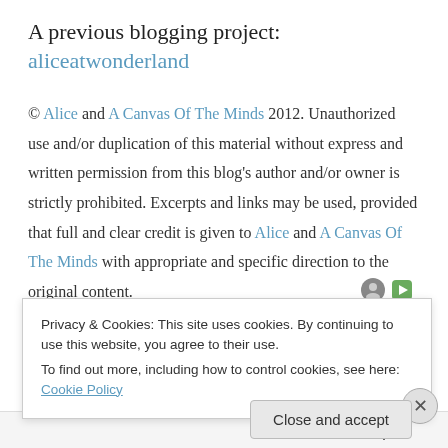A previous blogging project: aliceatwonderland
© Alice and A Canvas Of The Minds 2012. Unauthorized use and/or duplication of this material without express and written permission from this blog's author and/or owner is strictly prohibited. Excerpts and links may be used, provided that full and clear credit is given to Alice and A Canvas Of The Minds with appropriate and specific direction to the original content.
Sponsored Content
Privacy & Cookies: This site uses cookies. By continuing to use this website, you agree to their use.
To find out more, including how to control cookies, see here: Cookie Policy